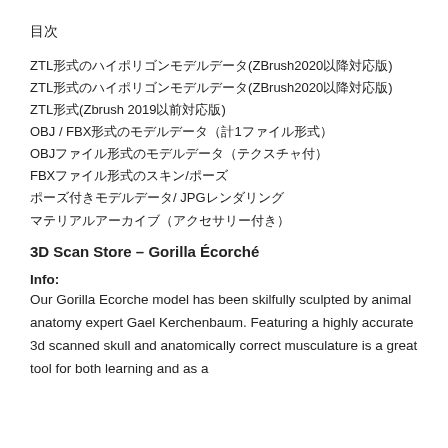目次
ZTLファイル形式のハイポリゴンモデルデータ(ZBrush2020以降対応版)
ZTLファイル形式のハイポリゴンモデルデータ(ZBrush2020以降対応版)
ZTL形式(Zbrush 2019以前対応版)
OBJ / FBXファイル形式のモデルデータ（計1ファイル形式）
OBJファイル形式のモデルデータ（テクスチャ付）
FBXファイル形式のスキン/ポーズ
ポーズ付きモデルデータ/ JPGレンダリング
マテリアルアーカイブ（アクセサリー付き）
3D Scan Store – Gorilla Écorché
Info:
Our Gorilla Ecorche model has been skilfully sculpted by animal anatomy expert Gael Kerchenbaum. Featuring a highly accurate 3d scanned skull and anatomically correct musculature is a great tool for both learning and as a